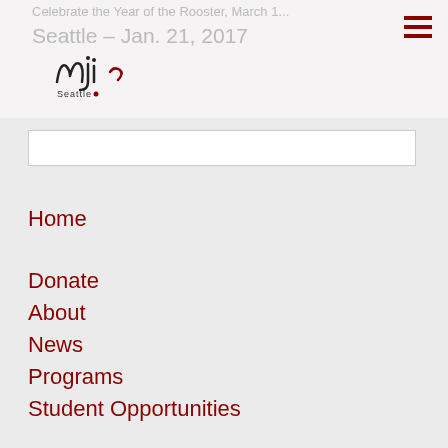Celebrate the Year of the Rooster, March 1... Seattle – Jan. 21, 2017
[Figure (logo): MJI Seattle logo with stylized cursive 'mji' text and 'Seattle' label below]
Home
Donate
About
News
Programs
Student Opportunities